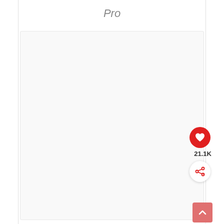Pro
[Figure (screenshot): A light gray empty content area with a red heart/like button showing 21.1K likes, a white share button, and a pink back-to-top arrow button in the bottom right corner.]